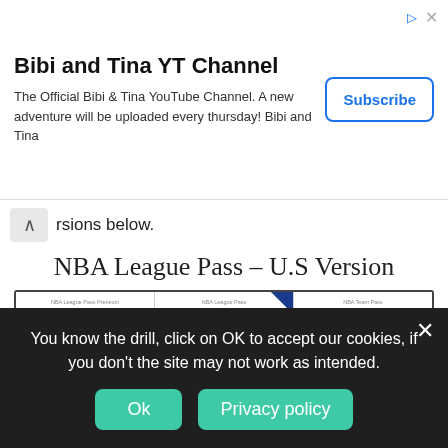[Figure (screenshot): Advertisement banner for Bibi and Tina YT Channel with Subscribe button]
rsions below.
NBA League Pass – U.S Version
[Figure (screenshot): NBA League Pass pricing table showing three plans: ALL TEAMS + IN-ARENA STREAM $249.99/year, ALL TEAMS $199.99/year, ONE TEAM $119.99/year]
You know the drill, click on OK to accept our cookies, if you don't the site may not work as intended.